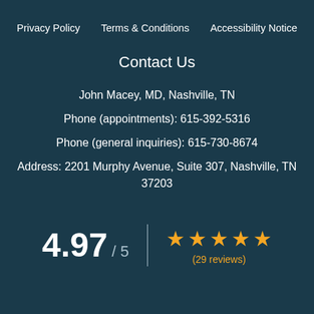Privacy Policy   Terms & Conditions   Accessibility Notice
Contact Us
John Macey, MD, Nashville, TN
Phone (appointments): 615-392-5316
Phone (general inquiries): 615-730-8674
Address: 2201 Murphy Avenue, Suite 307, Nashville, TN 37203
4.97 / 5  ★★★★★  (29 reviews)